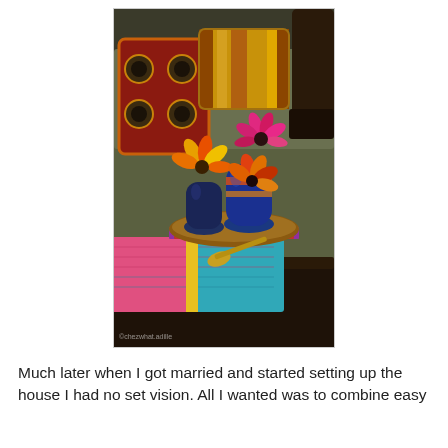[Figure (photo): A coffee table arrangement featuring two dark blue ceramic vases with colorful gerbera daisy flowers (pink, orange, red) on a circular wooden tray, placed on stacked books and a colorful pink and teal patterned placemat. A decorative brass spoon rests nearby. In the background is a dark olive-green sofa with colorful decorative pillows including an embroidered red/orange/black pillow and a striped orange/mustard pillow. A dark wooden chair arm is visible in the upper right.]
Much later when I got married and started setting up the house I had no set vision. All I wanted was to combine easy